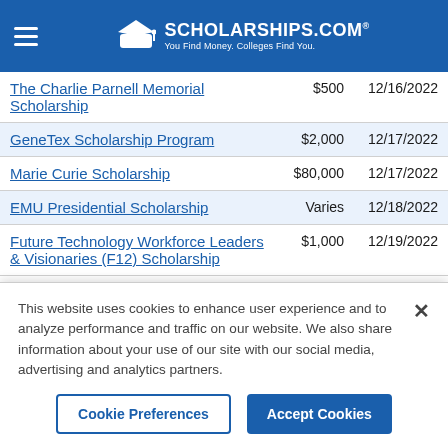[Figure (logo): Scholarships.com logo with graduation cap icon, white on blue background, tagline: You Find Money. Colleges Find You.]
| Scholarship Name | Amount | Deadline |
| --- | --- | --- |
| The Charlie Parnell Memorial Scholarship | $500 | 12/16/2022 |
| GeneTex Scholarship Program | $2,000 | 12/17/2022 |
| Marie Curie Scholarship | $80,000 | 12/17/2022 |
| EMU Presidential Scholarship | Varies | 12/18/2022 |
| Future Technology Workforce Leaders & Visionaries (F12) Scholarship | $1,000 | 12/19/2022 |
This website uses cookies to enhance user experience and to analyze performance and traffic on our website. We also share information about your use of our site with our social media, advertising and analytics partners.
Cookie Preferences
Accept Cookies